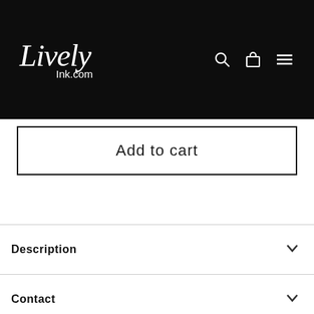Lively Ink.com
Add to cart
Description
Contact
Reviews